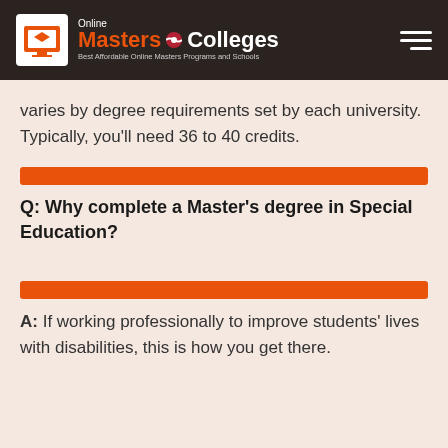Online Masters Colleges — Best Affordable Online Masters Programs and Schools
varies by degree requirements set by each university. Typically, you'll need 36 to 40 credits.
Q: Why complete a Master's degree in Special Education?
A: If working professionally to improve students' lives with disabilities, this is how you get there.